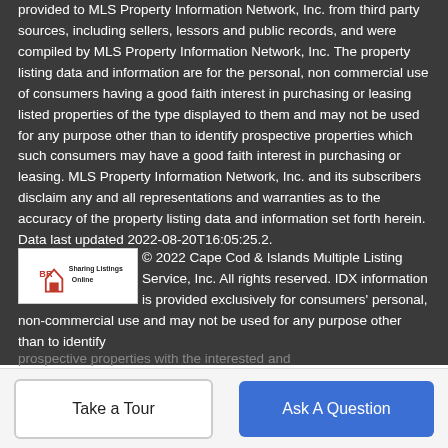provided to MLS Property Information Network, Inc. from third party sources, including sellers, lessors and public records, and were compiled by MLS Property Information Network, Inc. The property listing data and information are for the personal, non commercial use of consumers having a good faith interest in purchasing or leasing listed properties of the type displayed to them and may not be used for any purpose other than to identify prospective properties which such consumers may have a good faith interest in purchasing or leasing. MLS Property Information Network, Inc. and its subscribers disclaim any and all representations and warranties as to the accuracy of the property listing data and information set forth herein. Data last updated 2022-08-20T16:05:25.2.
[Figure (logo): BR logo with house icon, text 'Sharing Listings Online']
© 2022 Cape Cod & Islands Multiple Listing Service, Inc. All rights reserved. IDX information is provided exclusively for consumers' personal, non-commercial use and may not be used for any purpose other than to identify prospective properties with the interested and
prospective properties with the interested and
Take a Tour
Ask A Question